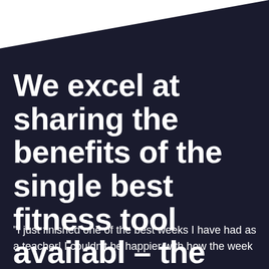We excel at sharing the benefits of the single best fitness tool availabl – the jump rope.
"I just finished one of the best weeks I have had as a teacher! I couldn't be happier with how the week